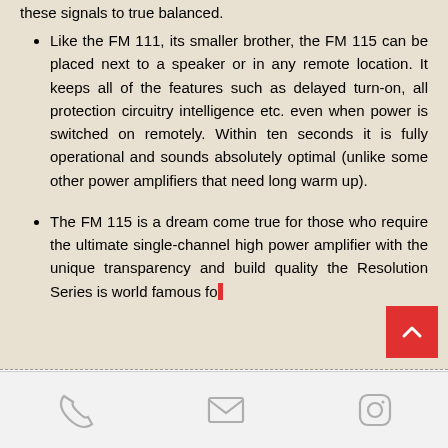these signals to true balanced.
Like the FM 111, its smaller brother, the FM 115 can be placed next to a speaker or in any remote location. It keeps all of the features such as delayed turn-on, all protection circuitry intelligence etc. even when power is switched on remotely. Within ten seconds it is fully operational and sounds absolutely optimal (unlike some other power amplifiers that need long warm up).
The FM 115 is a dream come true for those who require the ultimate single-channel high power amplifier with the unique transparency and build quality the Resolution Series is world famous fo...
[Figure (other): Footer navigation bar with phone icon, email/envelope icon, and Instagram icon on light grey background]